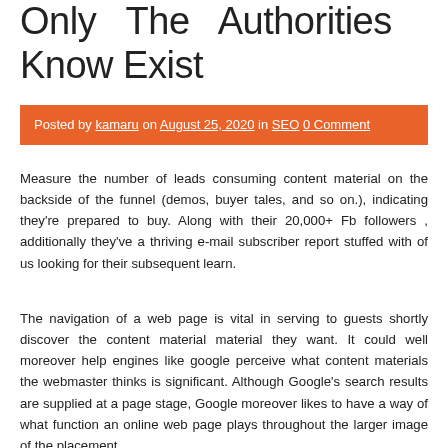Only The Authorities Know Exist
Posted by kamaru on August 25, 2020 in SEO 0 Comment
Measure the number of leads consuming content material on the backside of the funnel (demos, buyer tales, and so on.), indicating they're prepared to buy. Along with their 20,000+ Fb followers , additionally they've a thriving e-mail subscriber report stuffed with of us looking for their subsequent learn.
The navigation of a web page is vital in serving to guests shortly discover the content material material they want. It could well moreover help engines like google perceive what content materials the webmaster thinks is significant. Although Google's search results are supplied at a page stage, Google moreover likes to have a way of what function an online web page plays throughout the larger image of the placement.